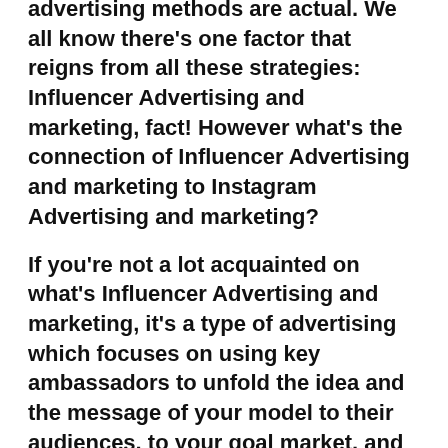advertising methods are actual. We all know there's one factor that reigns from all these strategies: Influencer Advertising and marketing, fact! However what's the connection of Influencer Advertising and marketing to Instagram Advertising and marketing?
If you're not a lot acquainted on what's Influencer Advertising and marketing, it's a type of advertising which focuses on using key ambassadors to unfold the idea and the message of your model to their audiences, to your goal market, and presumably to a bigger market. Instagram has greater than 300 million month-to-month customers, and 70% of Instagram customers have already looked for manufacturers on the identical platform who wished to guzzle their content material. That's the reason Instagram advertising is efficient on your e-commerce enterprise if used proper.
As an alternative of selling on to a bunch of shoppers